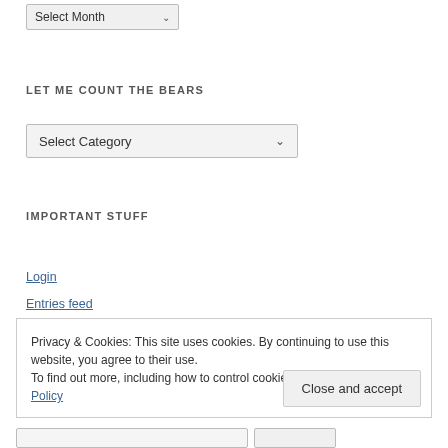[Figure (other): Dropdown select element labeled 'Select Month' with chevron arrow]
LET ME COUNT THE BEARS
[Figure (other): Dropdown select element labeled 'Select Category' with chevron arrow]
IMPORTANT STUFF
Login
Entries feed
Privacy & Cookies: This site uses cookies. By continuing to use this website, you agree to their use.
To find out more, including how to control cookies, see here: Cookie Policy
Close and accept